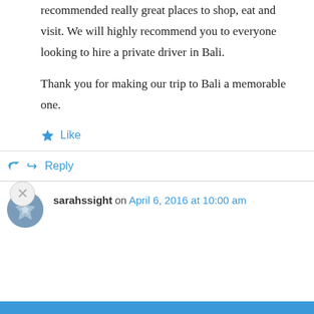recommended really great places to shop, eat and visit. We will highly recommend you to everyone looking to hire a private driver in Bali.
Thank you for making our trip to Bali a memorable one.
Like
↪ Reply
sarahssight on April 6, 2016 at 10:00 am
Privacy & Cookies: This site uses cookies. By continuing to use this website, you agree to their use.
To find out more, including how to control cookies, see here: Cookie Policy